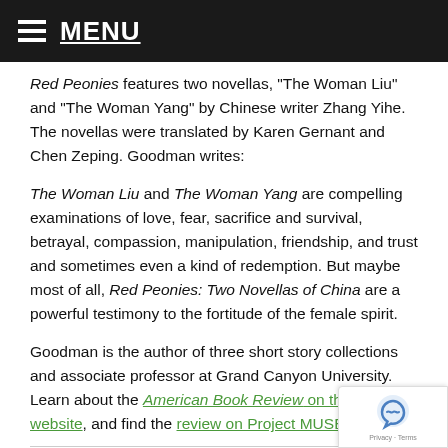MENU
Red Peonies features two novellas, “The Woman Liu” and “The Woman Yang” by Chinese writer Zhang Yihe. The novellas were translated by Karen Gernant and Chen Zeping. Goodman writes:
The Woman Liu and The Woman Yang are compelling examinations of love, fear, sacrifice and survival, betrayal, compassion, manipulation, friendship, and trust and sometimes even a kind of redemption. But maybe most of all, Red Peonies: Two Novellas of China are a powerful testimony to the fortitude of the female spirit.
Goodman is the author of three short story collections and associate professor at Grand Canyon University. Learn about the American Book Review on their website, and find the review on Project MUSE.
[Figure (photo): Book cover image shown at bottom left]
MĀNOA is edited by Stewart and Pat Matsuda.